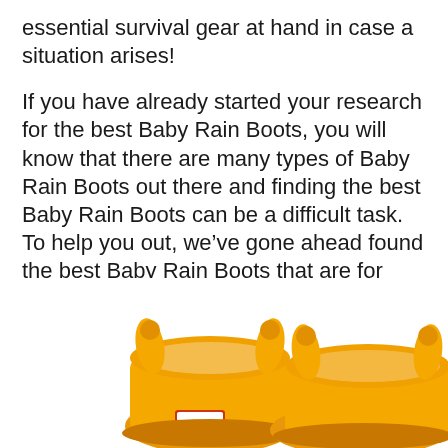essential survival gear at hand in case a situation arises!
If you have already started your research for the best Baby Rain Boots, you will know that there are many types of Baby Rain Boots out there and finding the best Baby Rain Boots can be a difficult task. To help you out, we've gone ahead found the best Baby Rain Boots that are for sale on Amazon right now!
#1 Best Seller Baby Rain Boots
[Figure (photo): Yellow baby rain boots product photo shown from above on a white background]